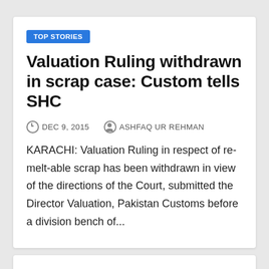TOP STORIES
Valuation Ruling withdrawn in scrap case: Custom tells SHC
DEC 9, 2015   ASHFAQ UR REHMAN
KARACHI: Valuation Ruling in respect of re-melt-able scrap has been withdrawn in view of the directions of the Court, submitted the Director Valuation, Pakistan Customs before a division bench of...
TOP STORIES